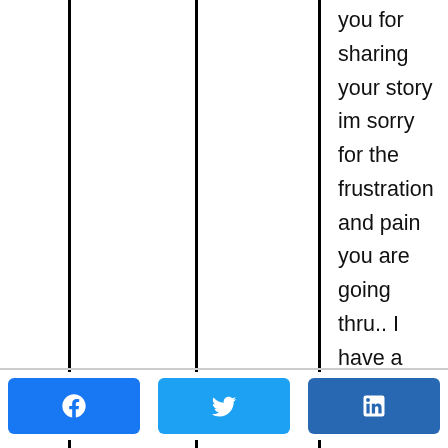you for sharing your story im sorry for the frustration and pain you are going thru.. I have a sister that suffered a brain injury 15 yrs ago from a motorcycle accident she is now 41... she has gone thru so much and been in several nursing homes far away
[Figure (other): Social sharing buttons: Facebook (blue), Twitter (light blue), LinkedIn (dark blue)]